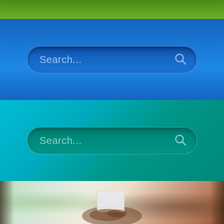[Figure (screenshot): Green gradient banner strip at the top]
[Figure (screenshot): Blue background section with a rounded search bar reading 'Search...' and a search icon on the right]
[Figure (screenshot): Teal/cyan gradient background section with a rounded search bar reading 'Search...' and a search icon on the right]
[Figure (photo): Blurred photo of a person holding a white tablet or book near a window with green foliage visible outside]